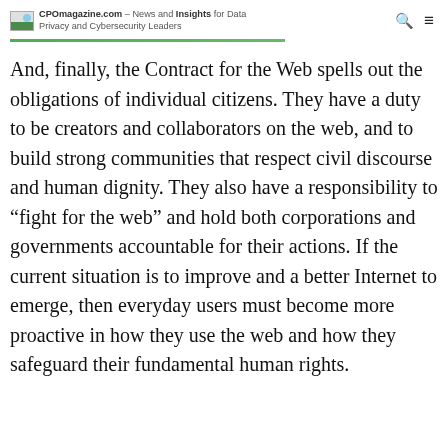CPOmagazine.com – News and Insights for Data Privacy and Cybersecurity Leaders
And, finally, the Contract for the Web spells out the obligations of individual citizens. They have a duty to be creators and collaborators on the web, and to build strong communities that respect civil discourse and human dignity. They also have a responsibility to “fight for the web” and hold both corporations and governments accountable for their actions. If the current situation is to improve and a better Internet to emerge, then everyday users must become more proactive in how they use the web and how they safeguard their fundamental human rights.